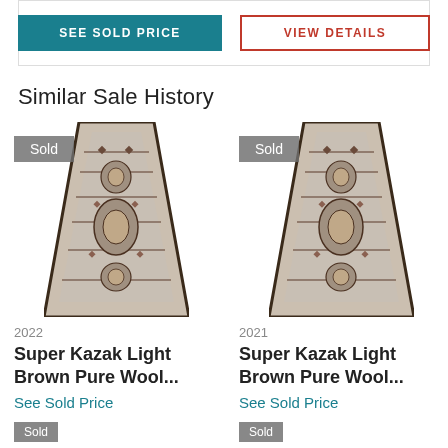[Figure (screenshot): Two buttons: 'SEE SOLD PRICE' (teal background) and 'VIEW DETAILS' (white with red border)]
Similar Sale History
[Figure (photo): Sold rug - Super Kazak Light Brown Pure Wool runner, 2022, with Sold badge]
[Figure (photo): Sold rug - Super Kazak Light Brown Pure Wool runner, 2021, with Sold badge]
2022
2021
Super Kazak Light Brown Pure Wool...
Super Kazak Light Brown Pure Wool...
See Sold Price
See Sold Price